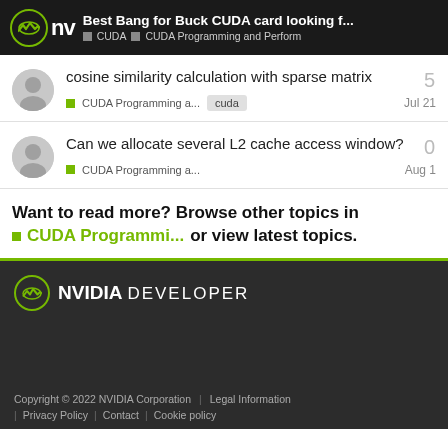Best Bang for Buck CUDA card looking f... | CUDA | CUDA Programming and Perform
cosine similarity calculation with sparse matrix
CUDA Programming a... cuda Jul 21
Can we allocate several L2 cache access window?
CUDA Programming a... Aug 1
Want to read more? Browse other topics in CUDA Programmi... or view latest topics.
Copyright © 2022 NVIDIA Corporation | Legal Information | Privacy Policy | Contact | Cookie policy